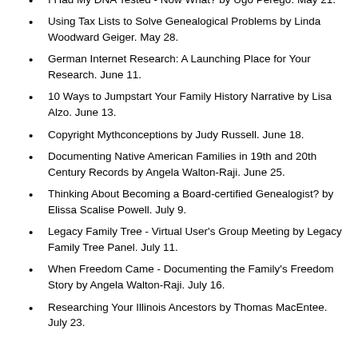Taylor. May 14.
I Had My DNA Tested - Now What? by Ugo Perego. May 21.
Using Tax Lists to Solve Genealogical Problems by Linda Woodward Geiger. May 28.
German Internet Research: A Launching Place for Your Research. June 11.
10 Ways to Jumpstart Your Family History Narrative by Lisa Alzo. June 13.
Copyright Mythconceptions by Judy Russell. June 18.
Documenting Native American Families in 19th and 20th Century Records by Angela Walton-Raji. June 25.
Thinking About Becoming a Board-certified Genealogist? by Elissa Scalise Powell. July 9.
Legacy Family Tree - Virtual User's Group Meeting by Legacy Family Tree Panel. July 11.
When Freedom Came - Documenting the Family's Freedom Story by Angela Walton-Raji. July 16.
Researching Your Illinois Ancestors by Thomas MacEntee. July 23.